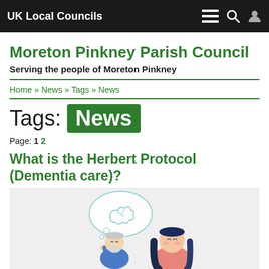UK Local Councils
Moreton Pinkney Parish Council
Serving the people of Moreton Pinkney
Home » News » Tags » News
Tags: News
Page: 1 2
What is the Herbert Protocol (Dementia care)?
[Figure (illustration): Illustration showing an elderly man with grey beard and a speech bubble containing a brain graphic, alongside a young woman with dark hair, depicting dementia care concept]